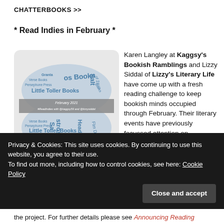CHATTERBOOKS >>
* Read Indies in February *
[Figure (illustration): Word cloud image in the shape of an open book showing various indie publisher names (Little Toller Books, Handheld Press, Granta, Persephone Press, Verse Books, etc.) in blue text on a grey background. Text reads: February 2021 #ReadIndies with @kaggsy59 and @lizzysiddal. URLs: www.kagggysbookishramblings.wordpress.com and www.lizzysiddal.wordpress.com]
Karen Langley at Kaggsy’s Bookish Ramblings and Lizzy Siddal of Lizzy’s Literary Life have come up with a fresh reading challenge to keep bookish minds occupied through February. Their literary events have previously focussed attention on individual publishers, such
Privacy & Cookies: This site uses cookies. By continuing to use this website, you agree to their use.
To find out more, including how to control cookies, see here: Cookie Policy
Close and accept
the project. For further details please see Announcing Reading